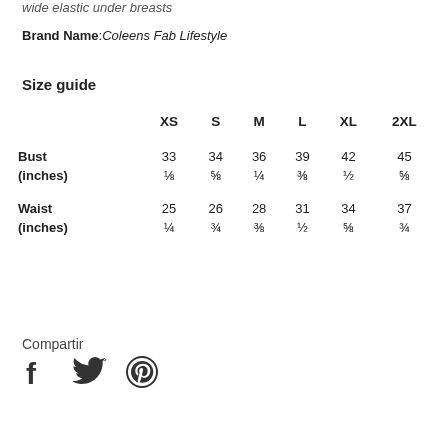wide elastic under breasts
Brand Name: Coleens Fab Lifestyle
Size guide
|  | XS | S | M | L | XL | 2XL |
| --- | --- | --- | --- | --- | --- | --- |
| Bust (inches) | 33 ⅛ | 34 ⅝ | 36 ¼ | 39 ⅜ | 42 ½ | 45 ⅝ |
| Waist (inches) | 25 ¼ | 26 ¾ | 28 ⅜ | 31 ½ | 34 ⅝ | 37 ¾ |
Compartir
[Figure (illustration): Social sharing icons: Facebook, Twitter, Pinterest]